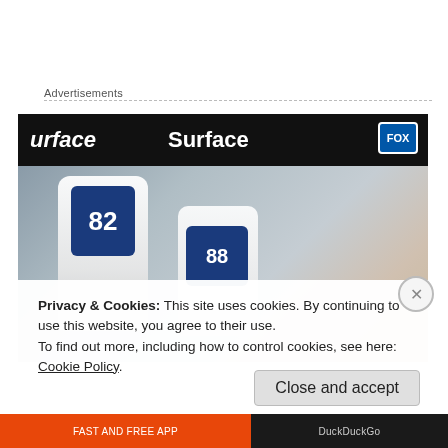Advertisements
[Figure (photo): NFL Dallas Cowboys players in white uniforms with blue numbers (82 and 88) walking along the sideline in front of a Microsoft Surface advertising banner. FOX Sports broadcast.]
Privacy & Cookies: This site uses cookies. By continuing to use this website, you agree to their use.
To find out more, including how to control cookies, see here: Cookie Policy
Close and accept